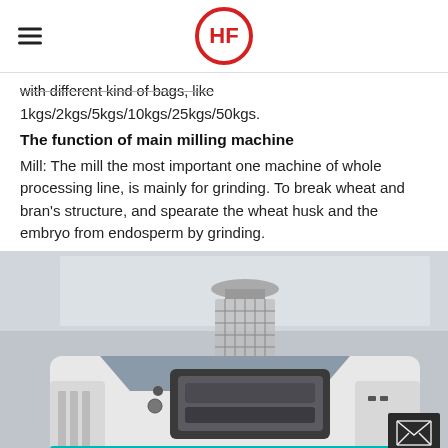HF logo header with hamburger menu
with different kind of bags, like 1kgs/2kgs/5kgs/10kgs/25kgs/50kgs.
The function of main milling machine
Mill: The mill the most important one machine of whole processing line, is mainly for grinding. To break wheat and bran's structure, and spearate the wheat husk and the embryo from endosperm by grinding.
[Figure (photo): Photo of an HDF Roller Mill machine, white and teal colored industrial milling machine with a hopper on top, labeled 'HDF ROLLER MILL']